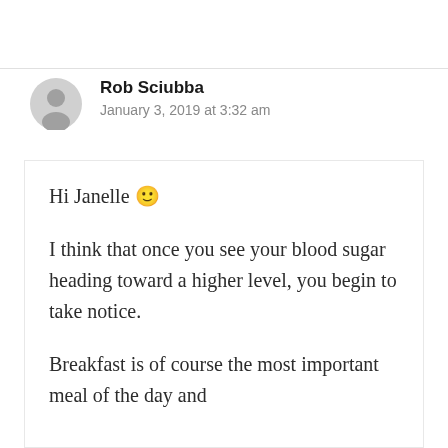Rob Sciubba
January 3, 2019 at 3:32 am
Hi Janelle 🙂

I think that once you see your blood sugar heading toward a higher level, you begin to take notice.

Breakfast is of course the most important meal of the day and